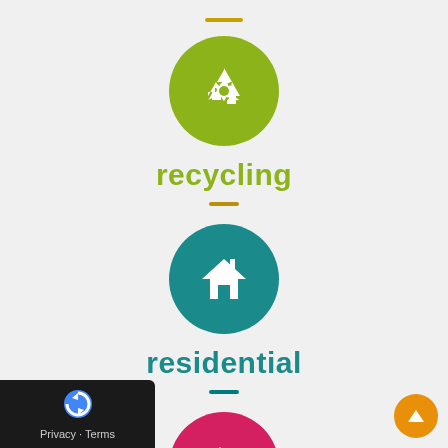[Figure (infographic): Green circle icon with white recycling arrows symbol]
recycling
[Figure (infographic): Teal circle icon with white house/home symbol]
residential
[Figure (infographic): Red/pink circle icon with white barn building symbol]
[Figure (logo): Google reCAPTCHA privacy badge with Privacy and Terms links]
[Figure (infographic): Orange circle scroll-up arrow button]